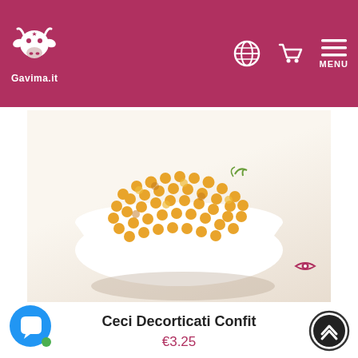Gavima.it — navigation header with logo, globe icon, cart icon, and MENU
[Figure (photo): A white bowl filled with golden-yellow decorticati confit chickpeas on a light background]
Ceci Decorticati Confit
€3.25